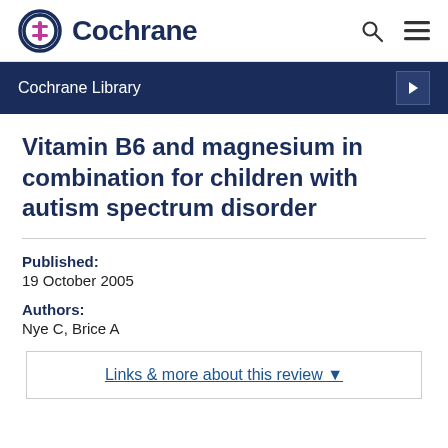Cochrane
Cochrane Library
Vitamin B6 and magnesium in combination for children with autism spectrum disorder
Published:
19 October 2005
Authors:
Nye C, Brice A
Links & more about this review ▼